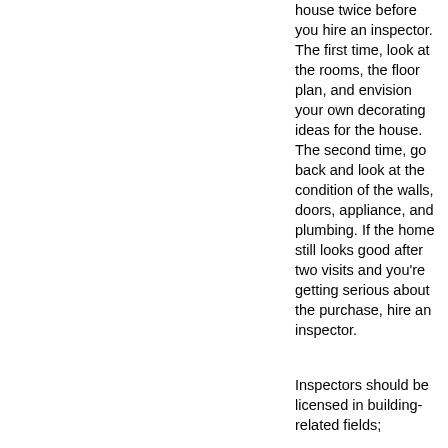house twice before you hire an inspector. The first time, look at the rooms, the floor plan, and envision your own decorating ideas for the house. The second time, go back and look at the condition of the walls, doors, appliance, and plumbing. If the home still looks good after two visits and you're getting serious about the purchase, hire an inspector.
Inspectors should be licensed in building-related fields;